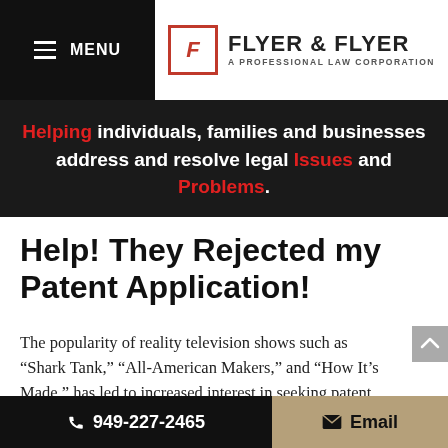[Figure (logo): Flyer & Flyer A Professional Law Corporation logo with red F icon and hamburger menu]
Helping individuals, families and businesses address and resolve legal Issues and Problems.
Help! They Rejected my Patent Application!
The popularity of reality television shows such as “Shark Tank,” “All-American Makers,” and “How It’s Made,” has led to increased interest in seeking patent protection. Applications for patents are made to the U.S. Patent and
949-227-2465   Email